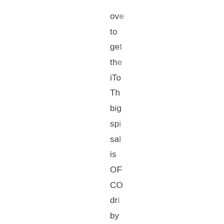ove to ge the iTo Th big spi sal is OF CO dri by the loy wh